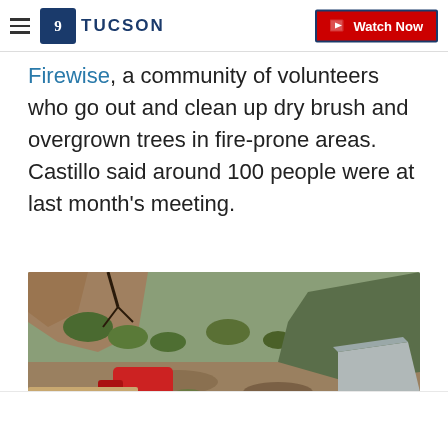9 TUCSON | Watch Now
Firewise, a community of volunteers who go out and clean up dry brush and overgrown trees in fire-prone areas. Castillo said around 100 people were at last month's meeting.
[Figure (photo): Person wearing green jacket and red gloves operating equipment outdoors on a hillside with vegetation and dry terrain in the background, with a grey tarp-covered object visible.]
CLOSE